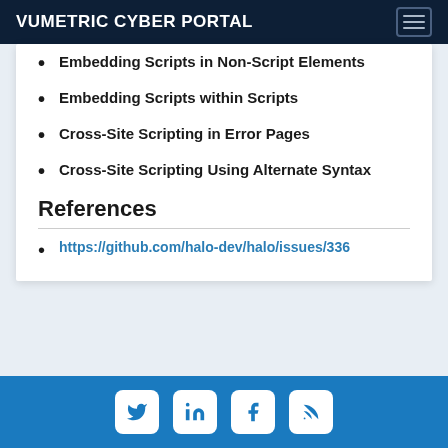VUMETRIC CYBER PORTAL
Embedding Scripts in Non-Script Elements
Embedding Scripts within Scripts
Cross-Site Scripting in Error Pages
Cross-Site Scripting Using Alternate Syntax
References
https://github.com/halo-dev/halo/issues/336
Twitter LinkedIn Facebook RSS